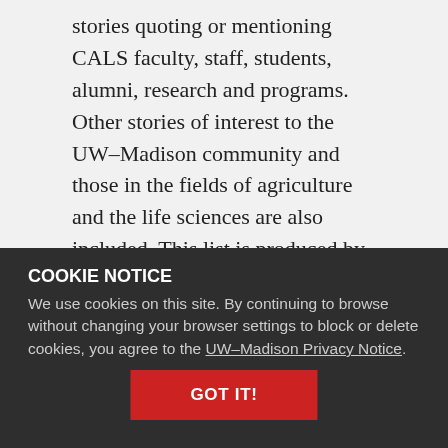stories quoting or mentioning CALS faculty, staff, students, alumni, research and programs. Other stories of interest to the UW–Madison community and those in the fields of agriculture and the life sciences are also included. This list is produced by CALS External Relations. Read more about our mission and methodology for curation.
COOKIE NOTICE
We use cookies on this site. By continuing to browse without changing your browser settings to block or delete cookies, you agree to the UW–Madison Privacy Notice.